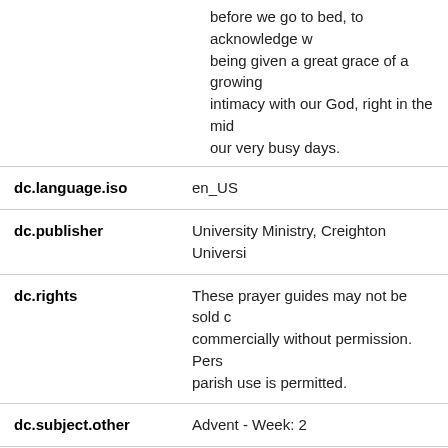before we go to bed, to acknowledge with being given a great grace of a growing intimacy with our God, right in the midst of our very busy days.
| Field | Value |
| --- | --- |
| dc.language.iso | en_US |
| dc.publisher | University Ministry, Creighton Universi |
| dc.rights | These prayer guides may not be sold commercially without permission. Personal parish use is permitted. |
| dc.subject.other | Advent - Week: 2 |
| dc.title | Second Week of Advent: Dec. 8 - 14, 2 |
| dc.rights.holder | University Ministry, Creighton Universi |
| dc.publisher.location | Omaha, Nebraska, United States |
| dc.date.day | 8 |
| dc.date.year | 2013 |